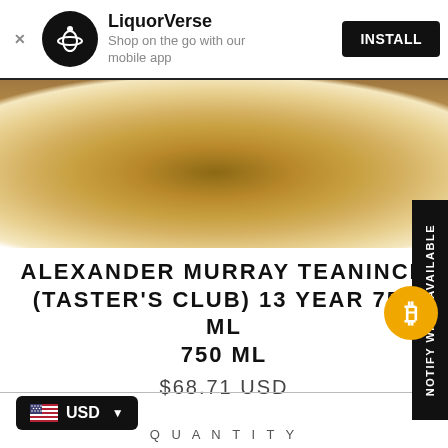LiquorVerse - Shop on the go with our mobile app - INSTALL
[Figure (photo): Close-up photo of the bottom of a whisky bottle, brown/amber tones with golden and cream highlights]
ALEXANDER MURRAY TEANINCH (TASTER'S CLUB) 13 YEAR 750 ML 750 ML
$68.71 USD
NOTIFY WHEN AVAILABLE
USD
QUANTITY